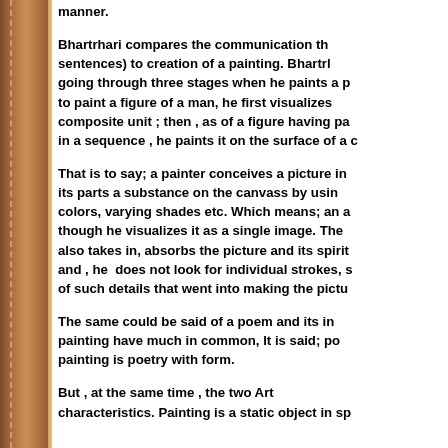manner.
Bhartrhari compares the communication through vakyas (sentences) to creation of a painting. Bhartrhari describes a painter going through three stages when he paints a picture. If he wishes to paint a figure of a man, he first visualizes the figure as a composite unit ; then , as of a figure having parts, distributed in a sequence , he paints it on the surface of a canvas.
That is to say; a painter conceives a picture in his mind, renders its parts a substance on the canvass by using lines, shapes colors, varying shades etc. Which means; an artist paints parts though he visualizes it as a single image. The viewer/listener also takes in, absorbs the picture and its spirit as a whole and , he does not look for individual strokes, shades, and details of such details that went into making the picture.
The same could be said of a poem and its interpretation. A painting have much in common, It is said; poetry is painting without form, painting is poetry with form.
But , at the same time , the two Arts have their own characteristics. Painting is a static object in space.